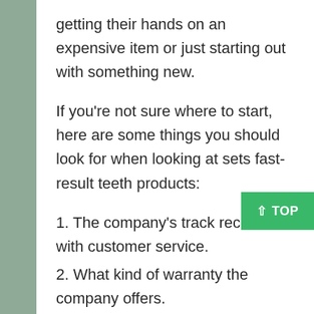getting their hands on an expensive item or just starting out with something new.
If you're not sure where to start, here are some things you should look for when looking at sets fast-result teeth products:
1. The company's track record with customer service.
2. What kind of warranty the company offers.
3. How long has this product been on